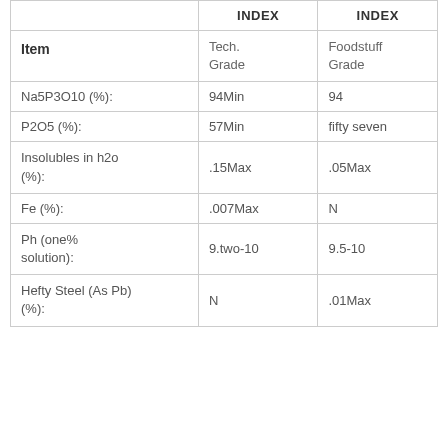| Item | INDEX | INDEX |
| --- | --- | --- |
|  | Tech. Grade | Foodstuff Grade |
| Na5P3O10 (%): | 94Min | 94 |
| P2O5 (%): | 57Min | fifty seven |
| Insolubles in h2o (%): | .15Max | .05Max |
| Fe (%): | .007Max | N |
| Ph (one% solution): | 9.two-10 | 9.5-10 |
| Hefty Steel (As Pb) (%): | N | .01Max |